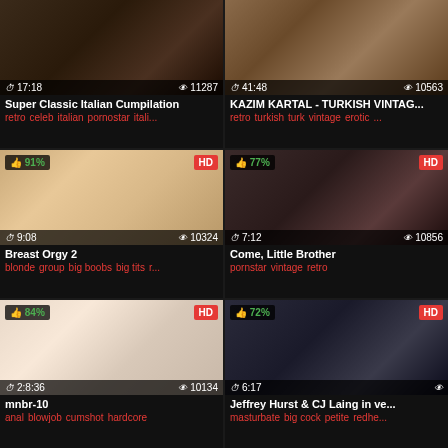[Figure (screenshot): Video thumbnail grid of 6 adult video thumbnails with titles, tags, duration, view counts, like percentages, and HD badges]
Super Classic Italian Cumpilation | 17:18 | 11287 views
retro celeb italian pornostar itali...
KAZIM KARTAL - TURKISH VINTAG... | 41:48 | 10563 views
retro turkish turk vintage erotic...
Breast Orgy 2 | 91% | HD | 9:08 | 10324 views
blonde group big boobs big tits r...
Come, Little Brother | 77% | HD | 7:12 | 10856 views
pornstar vintage retro
mnbr-10 | 84% | HD | 2:8:36 | 10134 views
anal blowjob cumshot hardcore
Jeffrey Hurst & CJ Laing in ve... | 72% | HD | 6:17 views
masturbate big cock petite redhe...